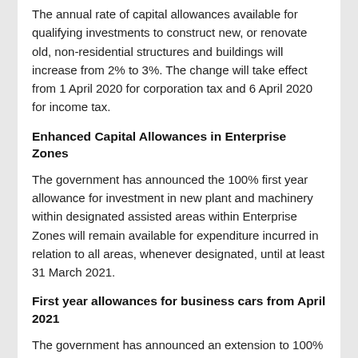The annual rate of capital allowances available for qualifying investments to construct new, or renovate old, non-residential structures and buildings will increase from 2% to 3%. The change will take effect from 1 April 2020 for corporation tax and 6 April 2020 for income tax.
Enhanced Capital Allowances in Enterprise Zones
The government has announced the 100% first year allowance for investment in new plant and machinery within designated assisted areas within Enterprise Zones will remain available for expenditure incurred in relation to all areas, whenever designated, until at least 31 March 2021.
First year allowances for business cars from April 2021
The government has announced an extension to 100% first year allowances for zero-emission cars, zero-emission goods vehicles and equipment for gas refuelling stations by four years from April 2021. CO₂ emission thresholds will also be amended from April 2021. These determine the rate of capital allowances available through which the capital expenditure